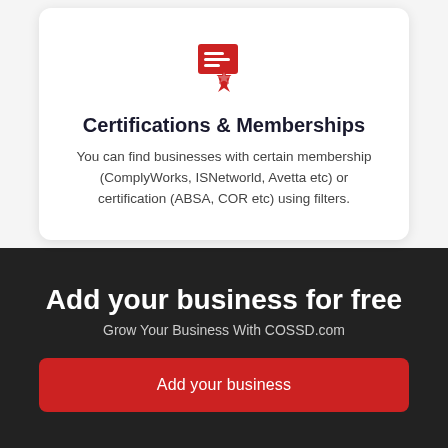[Figure (illustration): Red certificate/ribbon icon representing certifications and memberships]
Certifications & Memberships
You can find businesses with certain membership (ComplyWorks, ISNetworld, Avetta etc) or certification (ABSA, COR etc) using filters.
Add your business for free
Grow Your Business With COSSD.com
Add your business